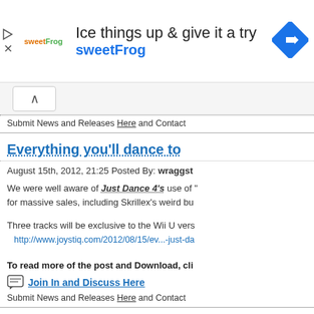[Figure (screenshot): sweetFrog advertisement banner with logo, headline 'Ice things up & give it a try', brand name 'sweetFrog', and a blue directional arrow icon]
Submit News and Releases Here and Contact
Everything you'll dance to
August 15th, 2012, 21:25 Posted By: wraggst
We were well aware of Just Dance 4's use of " for massive sales, including Skrillex's weird bu
Three tracks will be exclusive to the Wii U vers http://www.joystiq.com/2012/08/15/ev...-just-da
To read more of the post and Download, cli
Join In and Discuss Here
Submit News and Releases Here and Contact
GoldenEye 007's multiplay